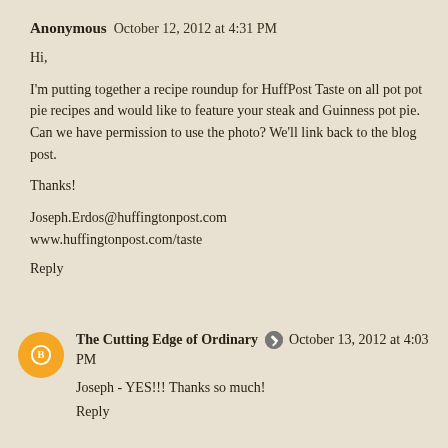Anonymous  October 12, 2012 at 4:31 PM
Hi,

I'm putting together a recipe roundup for HuffPost Taste on all pot pot pie recipes and would like to feature your steak and Guinness pot pie. Can we have permission to use the photo? We'll link back to the blog post.

Thanks!

Joseph.Erdos@huffingtonpost.com
www.huffingtonpost.com/taste
Reply
The Cutting Edge of Ordinary  October 13, 2012 at 4:03 PM
Joseph - YES!!! Thanks so much!
Reply